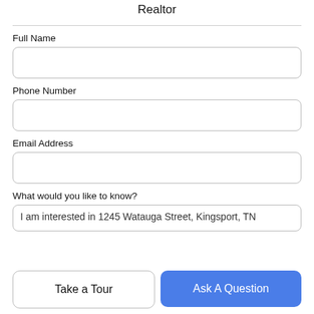Realtor
Full Name
Phone Number
Email Address
What would you like to know?
I am interested in 1245 Watauga Street, Kingsport, TN
Take a Tour
Ask A Question